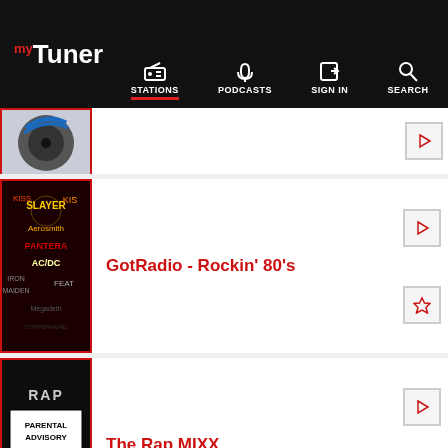myTuner — STATIONS  PODCASTS  SIGN IN  SEARCH
[Figure (screenshot): Partially visible station card at top]
GotRadio - Rockin' 80's
[Figure (photo): GotRadio Rockin 80s album art collage with band logos on dark background]
The Rap MIXX
[Figure (photo): The Rap MIXX — Parental Advisory Explicit Content logo style image]
[Figure (screenshot): Partially visible hitsradio station card at bottom]
Download App
[Figure (logo): myTuner radio app icon — red radio on white background]